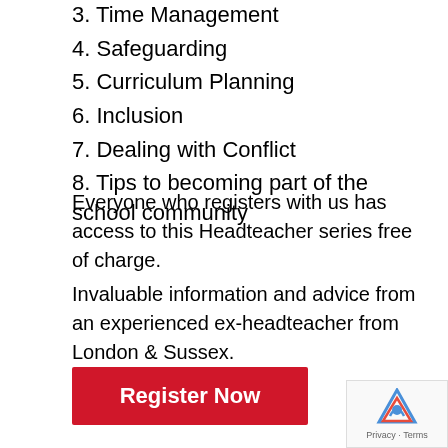3. Time Management
4. Safeguarding
5. Curriculum Planning
6. Inclusion
7. Dealing with Conflict
8. Tips to becoming part of the school community
Everyone who registers with us has access to this Headteacher series free of charge.
Invaluable information and advice from an experienced ex-headteacher from London & Sussex.
[Figure (other): Red 'Register Now' button]